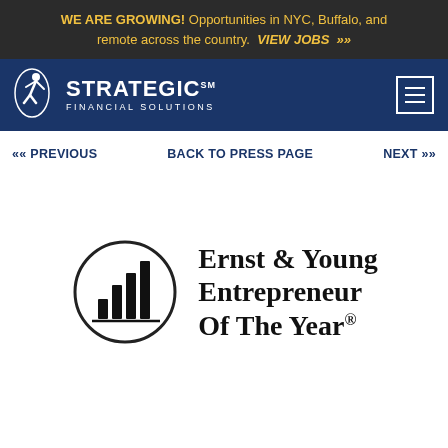WE ARE GROWING! Opportunities in NYC, Buffalo, and remote across the country. VIEW JOBS »
[Figure (logo): Strategic Financial Solutions logo with white figure icon and white text on dark blue background, with hamburger menu icon]
« PREVIOUS   BACK TO PRESS PAGE   NEXT »
[Figure (logo): Ernst & Young Entrepreneur Of The Year logo with a circular bar chart icon and bold text]